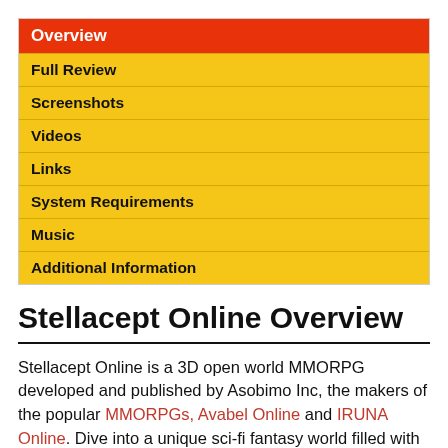Overview
Full Review
Screenshots
Videos
Links
System Requirements
Music
Additional Information
Stellacept Online Overview
Stellacept Online is a 3D open world MMORPG developed and published by Asobimo Inc, the makers of the popular MMORPGs, Avabel Online and IRUNA Online. Dive into a unique sci-fi fantasy world filled with high tech weaponry and medieval scenery. Witness high quality, console quality 3D graphics in a